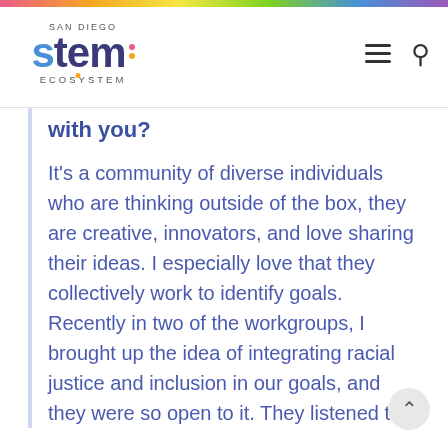San Diego STEM Ecosystem
with you?
It's a community of diverse individuals who are thinking outside of the box, they are creative, innovators, and love sharing their ideas. I especially love that they collectively work to identify goals. Recently in two of the workgroups, I brought up the idea of integrating racial justice and inclusion in our goals, and they were so open to it. They listened to